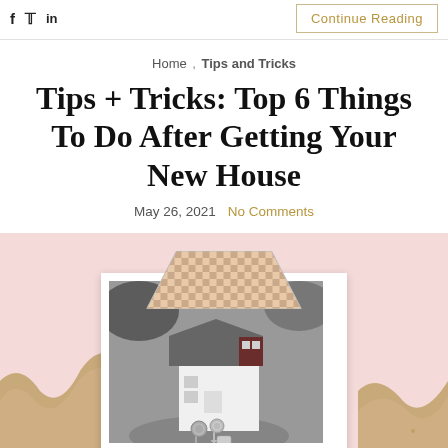f  [twitter]  in   Continue Reading
Home , Tips and Tricks
Tips + Tricks: Top 6 Things To Do After Getting Your New House
May 26, 2021   No Comments
[Figure (photo): A house model with keys in front, displayed in a polaroid-style frame with a pink background and kraft paper decorative elements on the sides. A checkered roof shape decorates the top of the frame.]